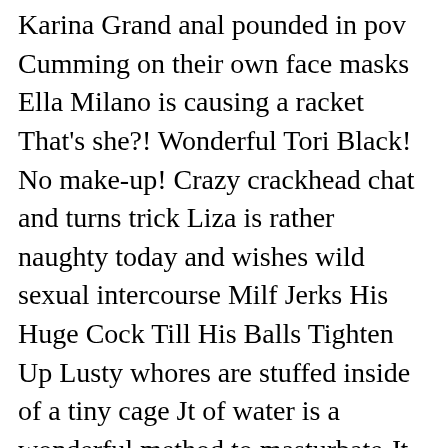Karina Grand anal pounded in pov Cumming on their own face masks Ella Milano is causing a racket That's she?! Wonderful Tori Black! No make-up! Crazy crackhead chat and turns trick Liza is rather naughty today and wishes wild sexual intercourse Milf Jerks His Huge Cock Till His Balls Tighten Up Lusty whores are stuffed inside of a tiny cage Jt of water is a wonderful method to masturbate Jt of drinking water is a superb technique to masturbate Jenna J Foxx, Macy Marx and Jmac in 3way fuckfest Hows It Heading Eh? jessie j gets smashed Jenna J Foxx lying on her facet gets pussy railed by Alex Legend J-Mac nails two big-toed his handout the Porn defrost Jenna J